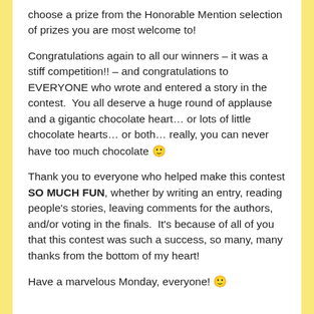choose a prize from the Honorable Mention selection of prizes you are most welcome to!
Congratulations again to all our winners – it was a stiff competition!! – and congratulations to EVERYONE who wrote and entered a story in the contest.  You all deserve a huge round of applause and a gigantic chocolate heart… or lots of little chocolate hearts… or both… really, you can never have too much chocolate 🙂
Thank you to everyone who helped make this contest SO MUCH FUN, whether by writing an entry, reading people's stories, leaving comments for the authors, and/or voting in the finals.  It's because of all of you that this contest was such a success, so many, many thanks from the bottom of my heart!
Have a marvelous Monday, everyone! 🙂